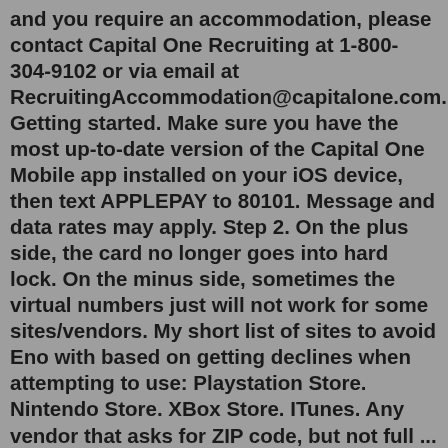and you require an accommodation, please contact Capital One Recruiting at 1-800-304-9102 or via email at RecruitingAccommodation@capitalone.com. Getting started. Make sure you have the most up-to-date version of the Capital One Mobile app installed on your iOS device, then text APPLEPAY to 80101. Message and data rates may apply. Step 2. On the plus side, the card no longer goes into hard lock. On the minus side, sometimes the virtual numbers just will not work for some sites/vendors. My short list of sites to avoid Eno with based on getting declines when attempting to use: Playstation Store. Nintendo Store. XBox Store. ITunes. Any vendor that asks for ZIP code, but not full ... U.S. Department of Homeland Security. COVID-19 Response. www. capitalone .com. If you have visited our website in search of information on employment opportunities or to apply for a position and you require an accommodation, please contact Capital One Recruiting at 1-800-304-9102 or via email at RecruitingAccommodation@capitalone.com. If your